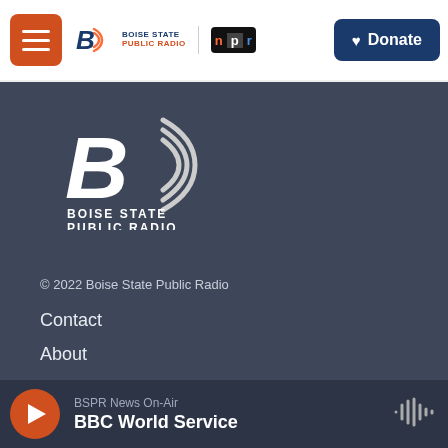Boise State Public Radio | NPR — Header navigation with hamburger menu and Donate button
[Figure (logo): Boise State Public Radio large logo with radio wave icon and B lettermark, white on dark background, with text BOISE STATE PUBLIC RADIO below]
© 2022 Boise State Public Radio
Contact
About
Diversity Statement
Terms of Use
BSPR News On-Air — BBC World Service (player bar)